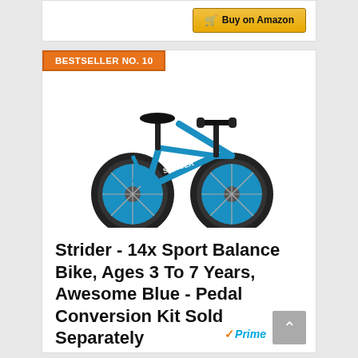[Figure (screenshot): Buy on Amazon button with shopping cart icon, gold/yellow colored button]
BESTSELLER NO. 10
[Figure (photo): Strider 14x Sport Balance Bike in Awesome Blue color, showing a children's balance bike with two large black-tired wheels, blue frame, black seat and black handlebars]
Strider - 14x Sport Balance Bike, Ages 3 To 7 Years, Awesome Blue - Pedal Conversion Kit Sold Separately
[Figure (logo): Amazon Prime logo with checkmark and Prime text]